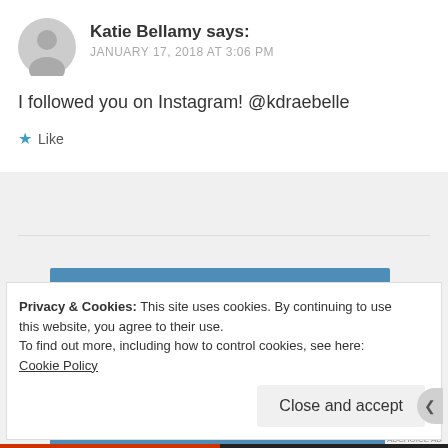Katie Bellamy says: JANUARY 17, 2018 AT 3:06 PM
I followed you on Instagram! @kdraebelle
★ Like
[Figure (screenshot): Blue promotional banner with an 'Apply' button]
Privacy & Cookies: This site uses cookies. By continuing to use this website, you agree to their use. To find out more, including how to control cookies, see here: Cookie Policy
Close and accept